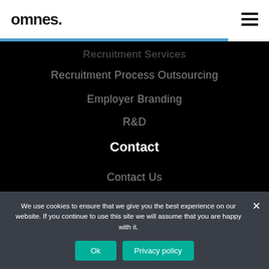omnes.
Recruitment Services
Recruitment Process Outsourcing
Employer Branding
R&D
Contact
Contact Us
About Us
We use cookies to ensure that we give you the best experience on our website. If you continue to use this site we will assume that you are happy with it.
Ok
Privacy policy